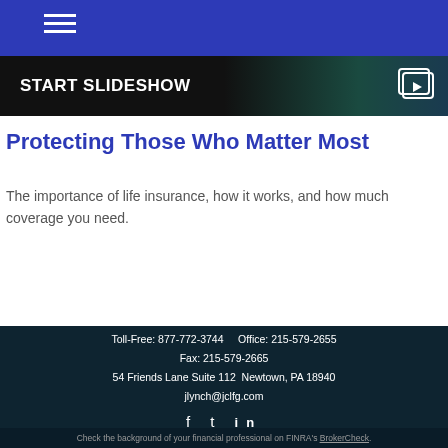START SLIDESHOW
Protecting Those Who Matter Most
The importance of life insurance, how it works, and how much coverage you need.
Toll-Free: 877-772-3744   Office: 215-579-2655
Fax: 215-579-2665
54 Friends Lane Suite 112  Newtown, PA 18940
jlynch@jclfg.com
Check the background of your financial professional on FINRA's BrokerCheck.